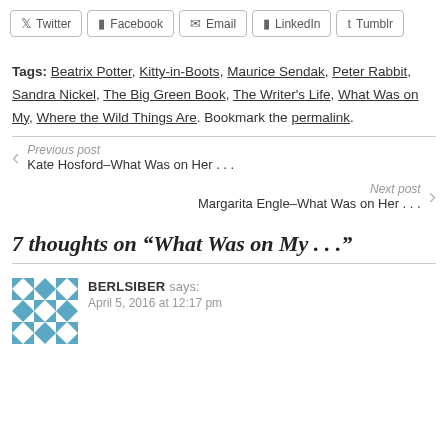Twitter | Facebook | Email | LinkedIn | Tumblr
Tags: Beatrix Potter, Kitty-in-Boots, Maurice Sendak, Peter Rabbit, Sandra Nickel, The Big Green Book, The Writer's Life, What Was on My, Where the Wild Things Are. Bookmark the permalink.
Previous post
Kate Hosford–What Was on Her . . .
Next post
Margarita Engle–What Was on Her . . .
7 thoughts on “What Was on My . . .”
BERLSIBER says:
April 5, 2016 at 12:17 pm